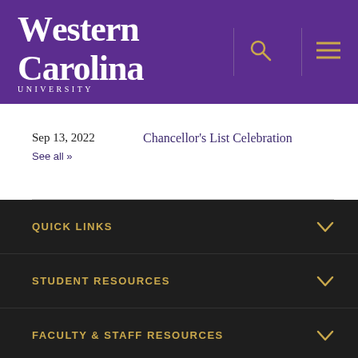Western Carolina University
Sep 13, 2022
Chancellor's List Celebration
See all »
QUICK LINKS
STUDENT RESOURCES
FACULTY & STAFF RESOURCES